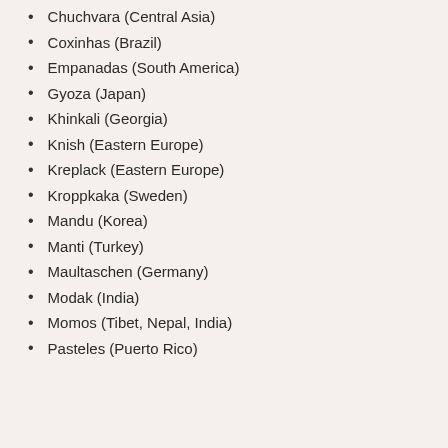Chuchvara (Central Asia)
Coxinhas (Brazil)
Empanadas (South America)
Gyoza (Japan)
Khinkali (Georgia)
Knish (Eastern Europe)
Kreplack (Eastern Europe)
Kroppkaka (Sweden)
Mandu (Korea)
Manti (Turkey)
Maultaschen (Germany)
Modak (India)
Momos (Tibet, Nepal, India)
Pasteles (Puerto Rico)